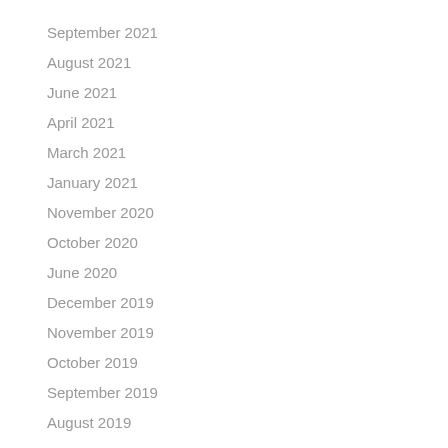September 2021
August 2021
June 2021
April 2021
March 2021
January 2021
November 2020
October 2020
June 2020
December 2019
November 2019
October 2019
September 2019
August 2019